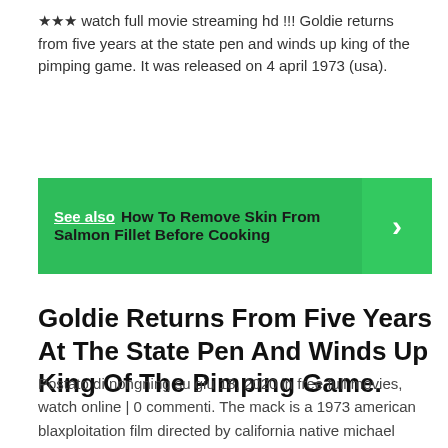★★★ watch full movie streaming hd !!! Goldie returns from five years at the state pen and winds up king of the pimping game. It was released on 4 april 1973 (usa).
See also  How To Remove Skin From Salmon Fillet Before Cooking
Goldie Returns From Five Years At The State Pen And Winds Up King Of The Pimping Game.
Postato di nongning su giu 18, 2020 in free full movies, watch online | 0 commenti. The mack is a 1973 american blaxploitation film directed by california native michael campus, starring max julien and richard pryor. Trouble comes in the form of two corrupt white cops and a crime lord who